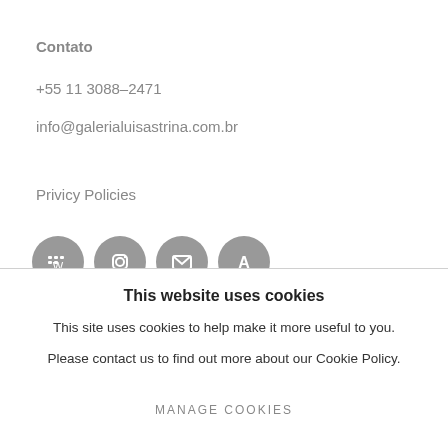Contato
+55 11 3088–2471
info@galerialuisastrina.com.br
Privicy Policies
[Figure (illustration): Four circular grey social media / contact icons in a row (web, Instagram, email, letter/newsletter)]
This website uses cookies
This site uses cookies to help make it more useful to you.
Please contact us to find out more about our Cookie Policy.
MANAGE COOKIES